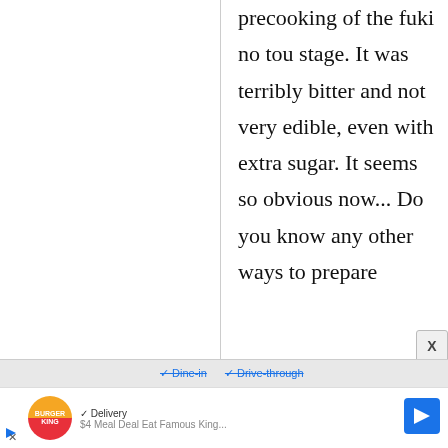precooking of the fuki no tou stage. It was terribly bitter and not very edible, even with extra sugar. It seems so obvious now... Do you know any other ways to prepare
[Figure (screenshot): Advertisement bar at bottom: Burger King ad with Dine-in, Drive-through, Delivery options and navigation arrow. Close button X visible.]